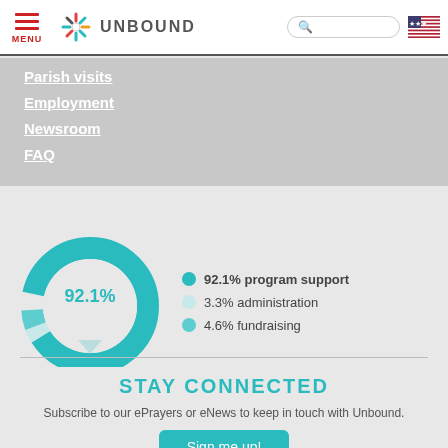MENU | UNBOUND
Parish visits
Employment
Newsroom
FAQ
[Figure (donut-chart): Program support breakdown]
STAY CONNECTED
Subscribe to our ePrayers or eNews to keep in touch with Unbound.
Sign me up!